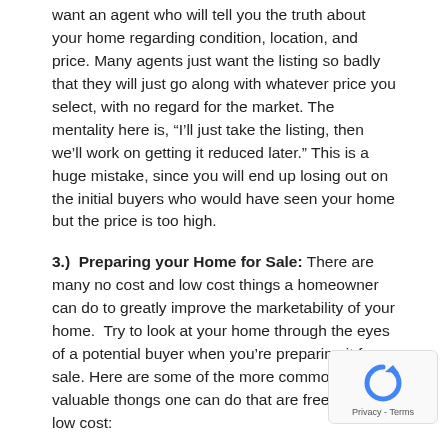want an agent who will tell you the truth about your home regarding condition, location, and price. Many agents just want the listing so badly that they will just go along with whatever price you select, with no regard for the market. The mentality here is, “I’ll just take the listing, then we’ll work on getting it reduced later.” This is a huge mistake, since you will end up losing out on the initial buyers who would have seen your home but the price is too high.
3.) Preparing your Home for Sale: There are many no cost and low cost things a homeowner can do to greatly improve the marketability of your home. Try to look at your home through the eyes of a potential buyer when you’re preparing it for sale. Here are some of the more common and valuable thongs one can do that are free or very low cost:
Curb Appeal: Feed, mow and water your lawn regularly. Plant colorful annual flowers near the